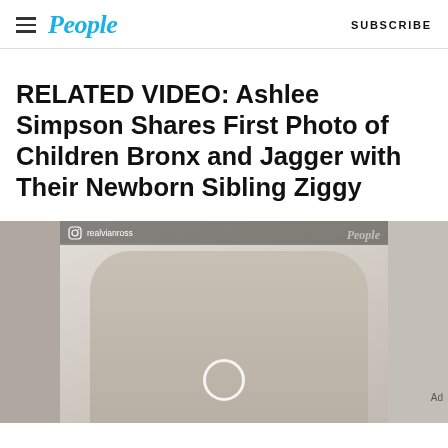People — SUBSCRIBE
RELATED VIDEO: Ashlee Simpson Shares First Photo of Children Bronx and Jagger with Their Newborn Sibling Ziggy
[Figure (photo): A video thumbnail showing a child holding a newborn baby, with People magazine watermark and Instagram handle 'realvianross' overlaid. Blurred panels on left and right sides. Play button circle visible. Ad label on right side.]